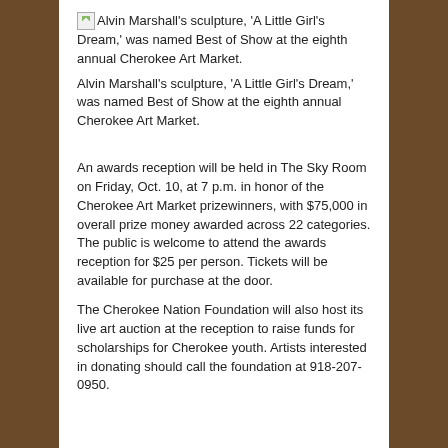Alvin Marshall's sculpture, 'A Little Girl's Dream,' was named Best of Show at the eighth annual Cherokee Art Market.
Alvin Marshall's sculpture, 'A Little Girl's Dream,' was named Best of Show at the eighth annual Cherokee Art Market.
An awards reception will be held in The Sky Room on Friday, Oct. 10, at 7 p.m. in honor of the Cherokee Art Market prizewinners, with $75,000 in overall prize money awarded across 22 categories. The public is welcome to attend the awards reception for $25 per person. Tickets will be available for purchase at the door.
The Cherokee Nation Foundation will also host its live art auction at the reception to raise funds for scholarships for Cherokee youth. Artists interested in donating should call the foundation at 918-207-0950.